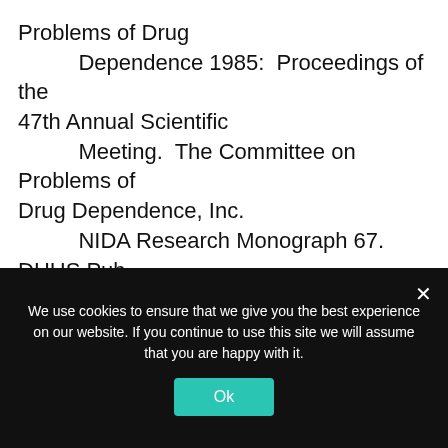Problems of Drug Dependence 1985: Proceedings of the 47th Annual Scientific Meeting. The Committee on Problems of Drug Dependence, Inc. NIDA Research Monograph 67. DHHS Pub. No. (ADM) 86-01448. Washington, D.C.: Supt. of Docs., U.S. Govt. Print. Off., 1986.
Schoenbaum, E.E.; Selwyn, P.A.; Klein, R.S.; Rogers, M.F.; Freeman